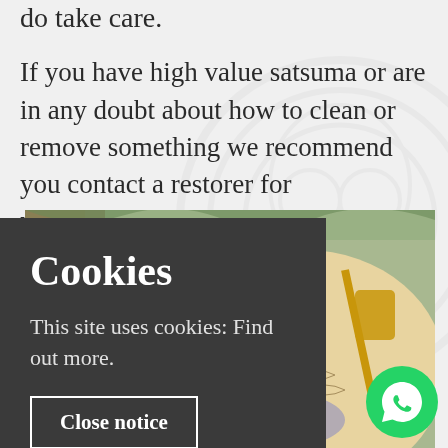do take care.
If you have high value satsuma or are in any doubt about how to clean or remove something we recommend you contact a restorer for professional advice.
[Figure (photo): Partial view of a Japanese satsuma ceramic piece with decorative patterns, partially obscured by cookie consent overlay]
Cookies
This site uses cookies: Find out more.
Close notice